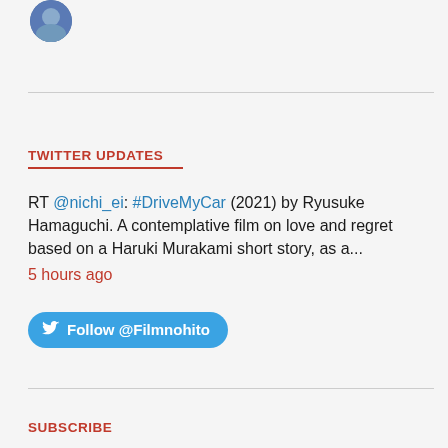[Figure (photo): Partial avatar/profile image circle visible at top left]
TWITTER UPDATES
RT @nichi_ei: #DriveMyCar (2021) by Ryusuke Hamaguchi. A contemplative film on love and regret based on a Haruki Murakami short story, as a...
5 hours ago
Follow @Filmnohito
SUBSCRIBE